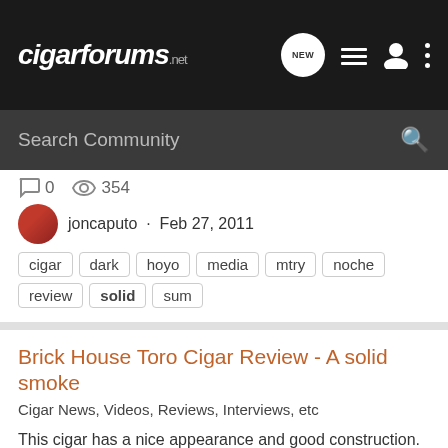cigarforums.net
Search Community
0  354
joncaputo · Feb 27, 2011
cigar  dark  hoyo  media  mtry  noche  review  solid  sum
Brick House Toro Cigar Review - A solid smoke
Cigar News, Videos, Reviews, Interviews, etc
This cigar has a nice appearance and good construction. The draw and burn were good, a couple late touch ups were needed though. This cigar has a... Read the full review here: Brick House Toro Cigar Review - A solid smoke
0  487
joncaputo · Feb 14, 2011